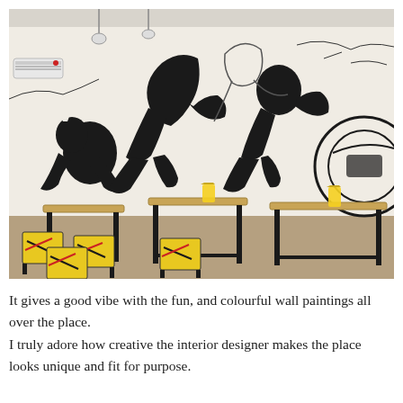[Figure (photo): Interior of a cafe with wooden tables and stools with colorful printed seat covers. The wall features a large black-and-white comic-style mural of running figures. Yellow drinks are on the tables. Pendant lights hang from the ceiling and a white air conditioning unit is on the wall.]
It gives a good vibe with the fun, and colourful wall paintings all over the place. I truly adore how creative the interior designer makes the place looks unique and fit for purpose.